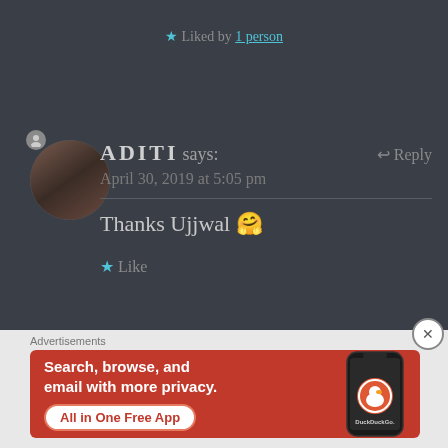★ Liked by 1 person
ADITI says: ↩ Reply
April 30, 2019 at 5:05 pm
Thanks Ujjwal 🤗
★ Like
Advertisements
[Figure (screenshot): DuckDuckGo advertisement banner with orange background. Text: 'Search, browse, and email with more privacy. All in One Free App'. Shows DuckDuckGo logo on phone mockup.]